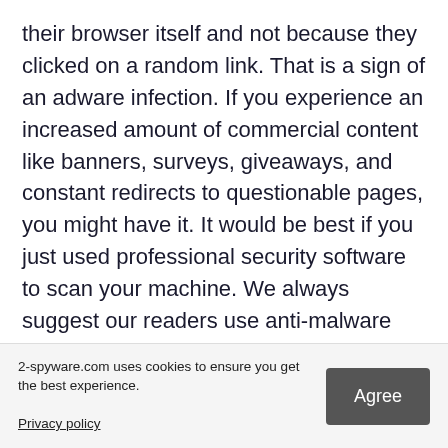their browser itself and not because they clicked on a random link. That is a sign of an adware infection. If you experience an increased amount of commercial content like banners, surveys, giveaways, and constant redirects to questionable pages, you might have it. It would be best if you just used professional security software to scan your machine. We always suggest our readers use anti-malware tools like SpyHunter 5 or Malwarebytes to scan their PCs.
Adware performs tasks in the background without the users' knowledge. Because there is no way of knowing which specific app is causing this annoying behavior, manual removal can be difficult. These tools can detect suspicious and eliminate al you can follow machines:
2-spyware.com uses cookies to ensure you get the best experience. Privacy policy